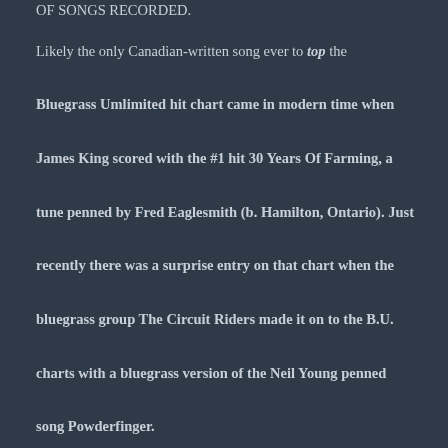OF SONGS RECORDED.
Likely the only Canadian-written song ever to top the Bluegrass Umlimited hit chart came in modern time when James King scored with the #1 hit 30 Years Of Farming, a tune penned by Fred Eaglesmith (b. Hamilton, Ontario). Just recently there was a surprise entry on that chart when the bluegrass group The Circuit Riders made it on to the B.U. charts with a bluegrass version of the Neil Young penned song Powderfinger.
GORDON LIGHTFOOT SONGS FAVORITES WITH U.S. BLUEGRASS bands
While Canadian songwriter action on the U.S. bluegrass charts is somewhat of a rarity, it is not because of a lack of